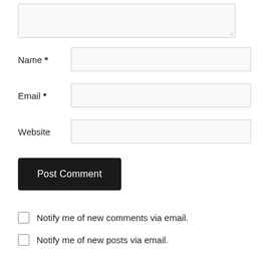[Figure (screenshot): A textarea input box (empty, with resize handle in bottom-right corner)]
Name *
[Figure (screenshot): A text input box for Name field]
Email *
[Figure (screenshot): A text input box for Email field]
Website
[Figure (screenshot): A text input box for Website field]
Post Comment
Notify me of new comments via email.
Notify me of new posts via email.